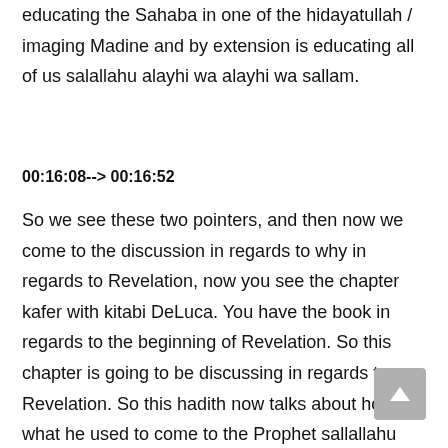educating the Sahaba in one of the hidayatullah / imaging Madine and by extension is educating all of us salallahu alayhi wa alayhi wa sallam.
00:16:08--> 00:16:52
So we see these two pointers, and then now we come to the discussion in regards to why in regards to Revelation, now you see the chapter kafer with kitabi DeLuca. You have the book in regards to the beginning of Revelation. So this chapter is going to be discussing in regards to Revelation. So this hadith now talks about how what he used to come to the Prophet sallallahu alayhi wasallam. Now in this Hadith, the Messenger of Allah sallallahu alayhi wa sallam mentioned two forms of why. One is that it used to come to him, like the ringing of a bell, like the ringing of a bell missler, sort of solitary, generous, and number two, the angel would take on the form of a human being.